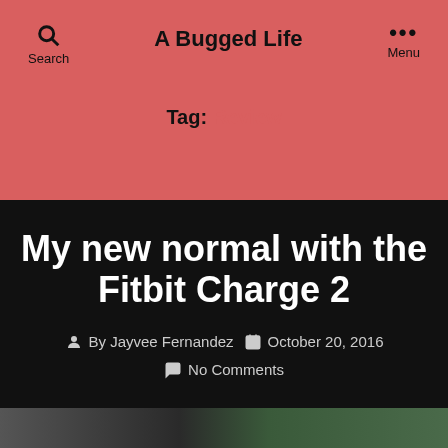A Bugged Life
Tag: Review
My new normal with the Fitbit Charge 2
By Jayvee Fernandez   October 20, 2016
No Comments
[Figure (photo): Bottom strip showing a dark outdoor photo]